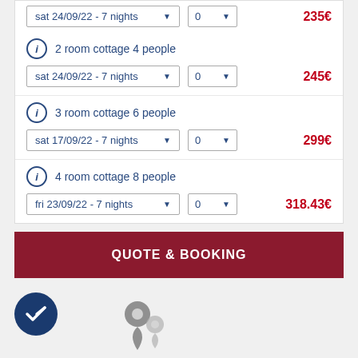sat 24/09/22 - 7 nights, 0, 235€
2 room cottage 4 people
sat 24/09/22 - 7 nights, 0, 245€
3 room cottage 6 people
sat 17/09/22 - 7 nights, 0, 299€
4 room cottage 8 people
fri 23/09/22 - 7 nights, 0, 318.43€
QUOTE & BOOKING
Other results around : Morbihan